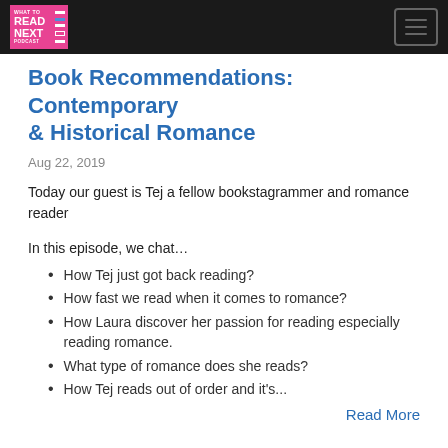What To Read Next Podcast
Book Recommendations: Contemporary & Historical Romance
Aug 22, 2019
Today our guest is Tej a fellow bookstagrammer and romance reader
In this episode, we chat…
How Tej just got back reading?
How fast we read when it comes to romance?
How Laura discover her passion for reading especially reading romance.
What type of romance does she reads?
How Tej reads out of order and it's...
Read More